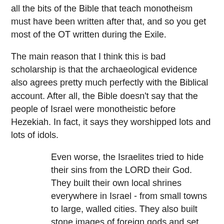all the bits of the Bible that teach monotheism must have been written after that, and so you get most of the OT written during the Exile.
The main reason that I think this is bad scholarship is that the archaeological evidence also agrees pretty much perfectly with the Biblical account. After all, the Bible doesn't say that the people of Israel were monotheistic before Hezekiah. In fact, it says they worshipped lots and lots of idols.
Even worse, the Israelites tried to hide their sins from the LORD their God. They built their own local shrines everywhere in Israel - from small towns to large, walled cities. They also built stone images of foreign gods and set up sacred poles for the worship of Asherah on every hill and under every shady tree. They offered sacrifices at the shrines, just as the foreign nations had done before the LORD forced them out of Israel. They did sinful things that made the LORD very angry.
Even then, the LORD had commanded the...